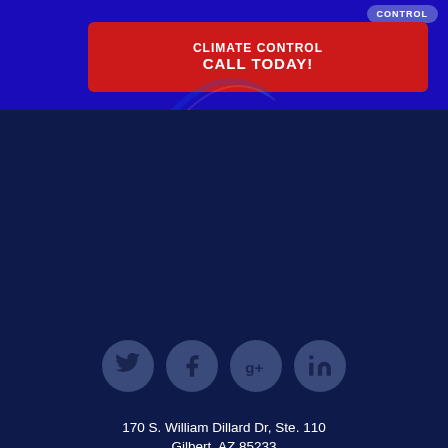[Figure (screenshot): Top banner with blue background, red call-to-action button reading CLIMATE CONTROL CALL TODAY!, and a smaller blue pill button labeled CONTROL]
[Figure (infographic): Four social media icon circles: Twitter, Facebook, Google+, LinkedIn — grey circles on dark navy background]
170 S. William Dillard Dr, Ste. 110
Gilbert, AZ 85233
Hours: Monday - Saturday: 7AM - 5PM
📞 480.460.7417
© 2022 Cooper Climate Control the best AC Repair in Phoenix AZ .